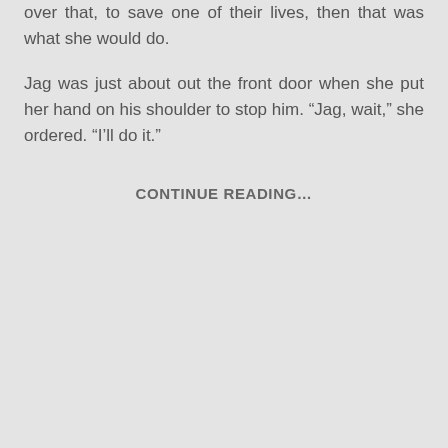over that, to save one of their lives, then that was what she would do.
Jag was just about out the front door when she put her hand on his shoulder to stop him. “Jag, wait,” she ordered. “I’ll do it.”
CONTINUE READING…